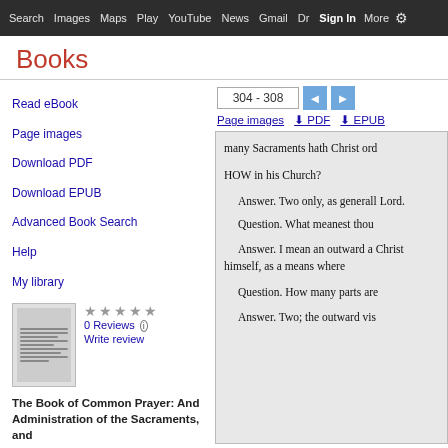Search  Images  Maps  Play  YouTube  News  Gmail  Dr  Sign In  More  ⚙
Books
Read eBook
Page images
Download PDF
Download EPUB
Advanced Book Search
Help
My library
0 Reviews
Write review
The Book of Common Prayer: And Administration of the Sacraments, and
[Figure (screenshot): Book page viewer showing page range 304-308 with navigation buttons, Page images, PDF, and EPUB download links, and a partial view of the book text about Sacraments including questions and answers about HOW many Sacraments Christ ordained, outward signs, and parts.]